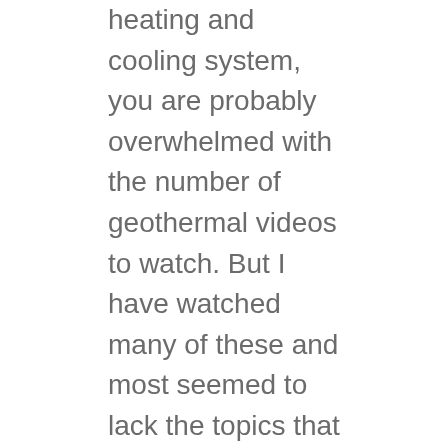heating and cooling system, you are probably overwhelmed with the number of geothermal videos to watch. But I have watched many of these and most seemed to lack the topics that are most helpful to our customers. So we made some better ones. And how do we know? After decades of teaching the public about energy efficient geothermal, we noticed most of our customers had a very similar list of questions. We also noticed our conversations had a very predictable progression through several topics. So we condensed our normal back-and-forth from an hour to just a few minutes and made these videos.